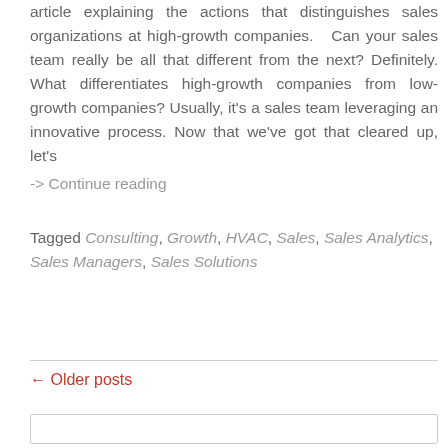article explaining the actions that distinguishes sales organizations at high-growth companies.  Can your sales team really be all that different from the next? Definitely. What differentiates high-growth companies from low-growth companies? Usually, it's a sales team leveraging an innovative process. Now that we've got that cleared up, let's
-> Continue reading
Tagged Consulting, Growth, HVAC, Sales, Sales Analytics, Sales Managers, Sales Solutions
← Older posts